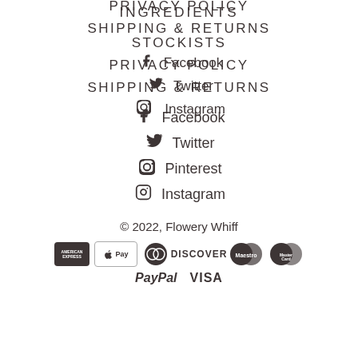INGREDIENTS
STOCKISTS
PRIVACY POLICY
SHIPPING & RETURNS
Facebook
Twitter
Pinterest
Instagram
© 2022, Flowery Whiff
[Figure (other): Payment method icons: American Express, Apple Pay, Diners Club, Discover, Maestro, MasterCard, PayPal, Visa]